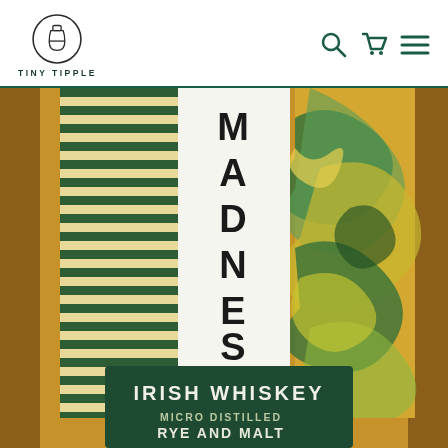TINY TIPPLE — navigation header with logo, search, cart, and menu icons
[Figure (photo): Close-up of an Irish whiskey bottle label showing 'MADNESS.' in large black vertical text on a white band, flanked by green-and-gold striped pattern on the left and a marbled green-yellow swirl pattern on the right. Below is a dark green label reading 'IRISH WHISKEY / MICRO DISTILLED RYE AND MALT / MATURED IN...']